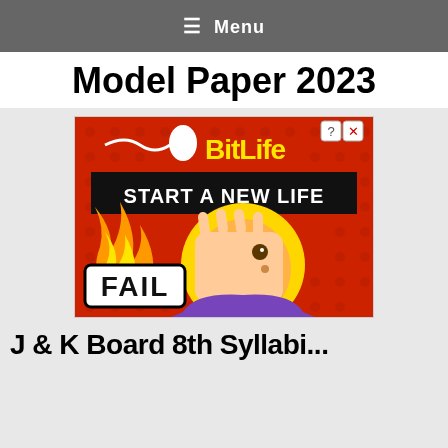≡ Menu
Model Paper 2023
[Figure (illustration): BitLife mobile game advertisement showing a cartoon blonde character doing a facepalm with 'FAIL' text, 'START A NEW LIFE' banner, and sperm logo. Has close/question mark buttons in top right.]
J & K Board 8th Syllabi...